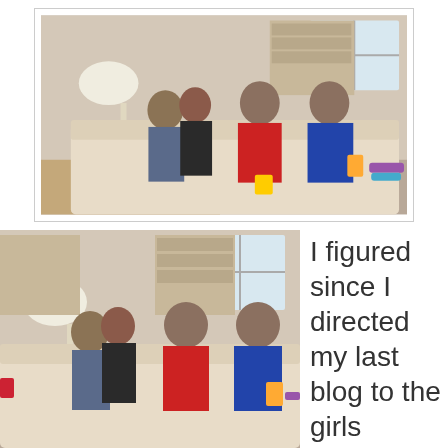[Figure (photo): Family photo: a boy, a woman, and two men sitting on a couch in a living room. There is a lamp, bookshelf, and window in the background. Cups and items on the couch beside them.]
[Figure (photo): Cropped version of the same family photo showing the same people on the couch, slightly zoomed in.]
I figured since I directed my last blog to the girls